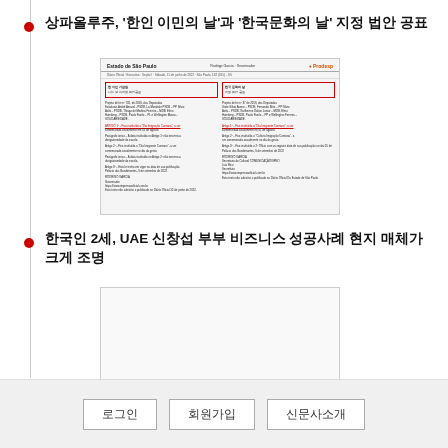상파올루주, '한인 이민의 날'과 '한국문화의 날' 지정 법안 공표
[Figure (screenshot): A scanned official Brazilian government document (Estado de São Paulo / Prodesp) with two columns. Each column contains a red-bordered box with Korean text headings and dense Portuguese body text. Red underlined links appear in the lower portions of each column.]
한국인 2세, UAE 신창섭 부부 비즈니스 성공사례 현지 매체가 크게 조명
[Figure (photo): A mostly blank/white image placeholder for a news article about a second-generation Korean couple in UAE featured in local media.]
로그인  회원가입  신문사소개